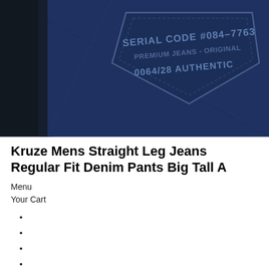[Figure (photo): Close-up photo of dark navy/indigo denim jeans showing the back pocket with text: SERIAL CODE #084-7763, PREMIUM JEANS - ORIGINAL, 0064/28 AUTHENTIC. A person's arm in a dark long-sleeve shirt is visible on the left.]
Kruze Mens Straight Leg Jeans Regular Fit Denim Pants Big Tall A
Menu
Your Cart
LinkedIn